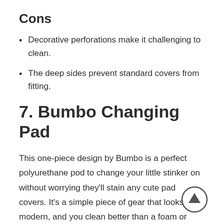Cons
Decorative perforations make it challenging to clean.
The deep sides prevent standard covers from fitting.
7. Bumbo Changing Pad
This one-piece design by Bumbo is a perfect polyurethane pod to change your little stinker on without worrying they'll stain any cute pad covers. It's a simple piece of gear that looks modern, and you clean better than a foam or fabric pad.